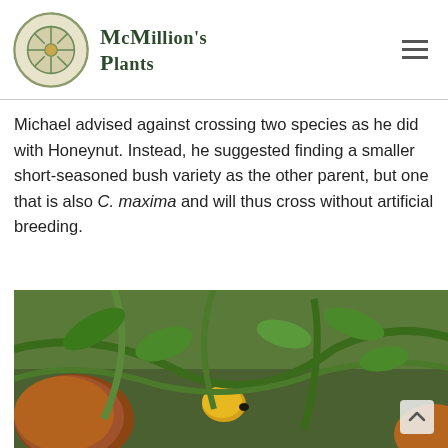McMillion's Plants
Michael advised against crossing two species as he did with Honeynut. Instead, he suggested finding a smaller short-seasoned bush variety as the other parent, but one that is also C. maxima and will thus cross without artificial breeding.
[Figure (photo): Close-up photograph of pumpkins and squash growing in a garden with green vines and foliage]